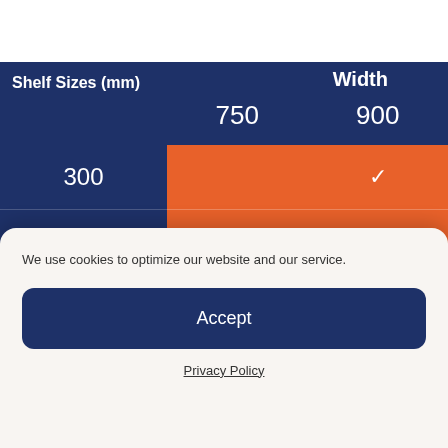| Shelf Sizes (mm) | 750 | 900 |
| --- | --- | --- |
| 300 |  | ✓ |
| 400 | ✓ | ✓ |
| 450 | ✓ | ✓ |
| 500 |  | ✓ |
We use cookies to optimize our website and our service.
Accept
Privacy Policy